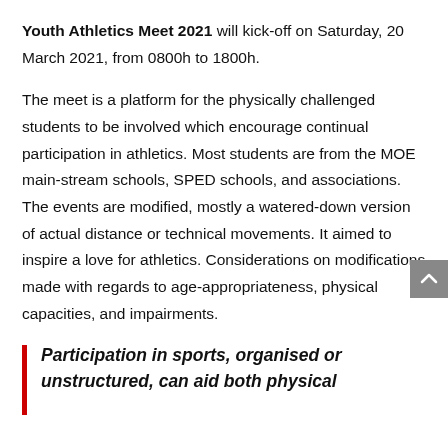Youth Athletics Meet 2021 will kick-off on Saturday, 20 March 2021, from 0800h to 1800h.
The meet is a platform for the physically challenged students to be involved which encourage continual participation in athletics. Most students are from the MOE main-stream schools, SPED schools, and associations. The events are modified, mostly a watered-down version of actual distance or technical movements. It aimed to inspire a love for athletics. Considerations on modifications made with regards to age-appropriateness, physical capacities, and impairments.
Participation in sports, organised or unstructured, can aid both physical